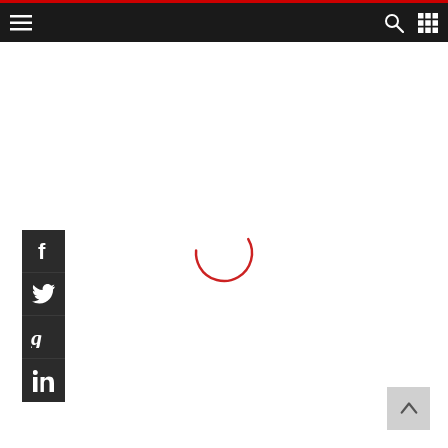[Figure (screenshot): Website navigation bar with hamburger menu on left, search and grid icons on right, dark background with red top border]
[Figure (infographic): Social media share sidebar with Facebook, Twitter, Google+, and LinkedIn icons on dark background]
[Figure (other): Red circular loading spinner (partial arc) in center of page]
[Figure (other): Light gray back-to-top button with upward chevron arrow in bottom right corner]